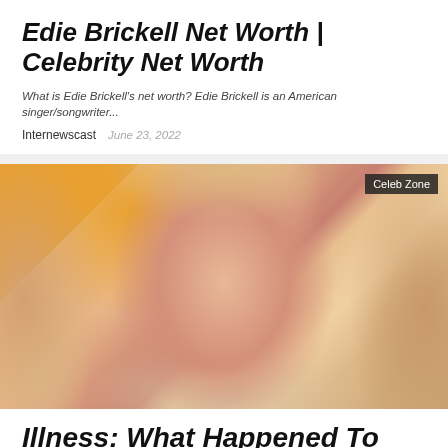Edie Brickell Net Worth | Celebrity Net Worth
What is Edie Brickell's net worth? Edie Brickell is an American singer/songwriter...
Internewscast   June 23, 2022
[Figure (photo): Close-up photo of a middle-aged woman with long wavy blonde/pink hair, smiling, with a 'Celeb Zone' watermark in the upper right corner. Orange/yellow background visible on the left side.]
Illness: What Happened To Sally